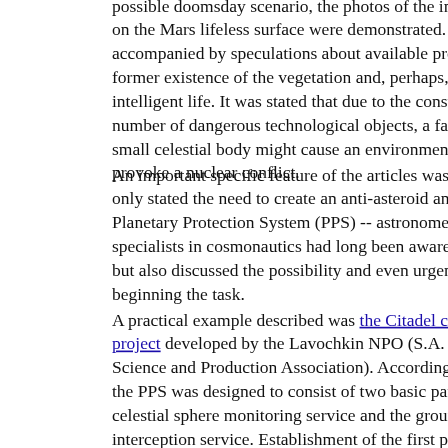possible doomsday scenario, the photos of the impact craters on the Mars lifeless surface were demonstrated. The video was accompanied by speculations about available proof of the former existence of the vegetation and, perhaps, even intelligent life. It was stated that due to the constantly growing number of dangerous technological objects, a fall of even a small celestial body might cause an environmental crisis or provoke a nuclear conflict.
An important specific feature of the articles was that they not only stated the need to create an anti-asteroid and anti-comet Planetary Protection System (PPS) -- astronomers and specialists in cosmonautics had long been aware of the need -- but also discussed the possibility and even urgency of beginning the task.
A practical example described was the Citadel conceptual project developed by the Lavochkin NPO (S.A. Lavochkin Science and Production Association). According to the project, the PPS was designed to consist of two basic parts: the united celestial sphere monitoring service and the ground-space interception service. Establishment of the first part was planned to begin with an immediate integration and coordination of efforts of the astronomy observation systems.